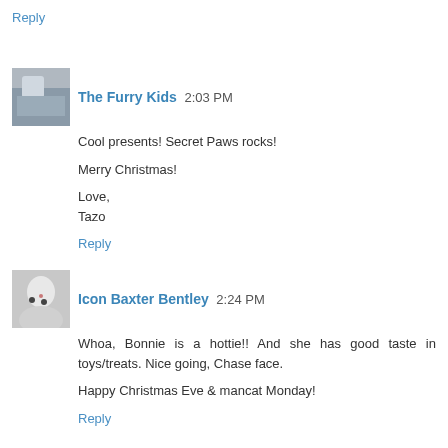Reply
The Furry Kids  2:03 PM
Cool presents! Secret Paws rocks!

Merry Christmas!

Love,
Tazo
Reply
Icon Baxter Bentley  2:24 PM
Whoa, Bonnie is a hottie!! And she has good taste in toys/treats. Nice going, Chase face.

Happy Christmas Eve & mancat Monday!
Reply